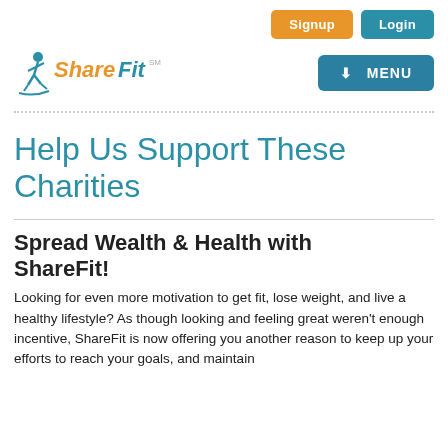Signup  Login  MENU
[Figure (logo): ShareFit logo with running figure and orange/blue text]
Help Us Support These Charities
Spread Wealth & Health with ShareFit!
Looking for even more motivation to get fit, lose weight, and live a healthy lifestyle? As though looking and feeling great weren't enough incentive, ShareFit is now offering you another reason to keep up your efforts to reach your goals, and maintain